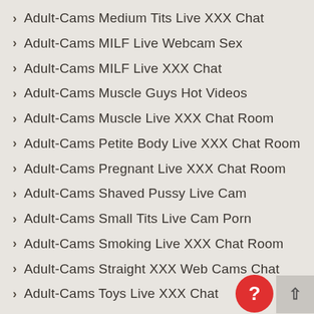Adult-Cams Medium Tits Live XXX Chat
Adult-Cams MILF Live Webcam Sex
Adult-Cams MILF Live XXX Chat
Adult-Cams Muscle Guys Hot Videos
Adult-Cams Muscle Live XXX Chat Room
Adult-Cams Petite Body Live XXX Chat Room
Adult-Cams Pregnant Live XXX Chat Room
Adult-Cams Shaved Pussy Live Cam
Adult-Cams Small Tits Live Cam Porn
Adult-Cams Smoking Live XXX Chat Room
Adult-Cams Straight XXX Web Cams Chat
Adult-Cams Toys Live XXX Chat
Adult-Cams Toys Live XXX Chat Room
Adult-Cams TRANS Live Cam Porn